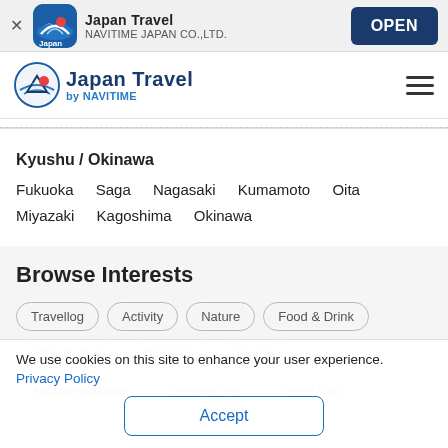Japan Travel — NAVITIME JAPAN CO.,LTD. — OPEN
[Figure (logo): Japan Travel by NAVITIME logo with circular icon and hamburger menu]
Kyushu / Okinawa
Fukuoka  Saga  Nagasaki  Kumamoto  Oita  Miyazaki  Kagoshima  Okinawa
Browse Interests
Travellog  Activity  Nature  Food & Drink  Art & Culture  Shopping  Events  Accommodations  Destinations  Travel Tips
We use cookies on this site to enhance your user experience.
Privacy Policy
Accept